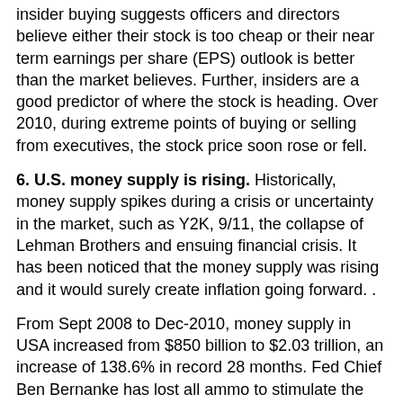insider buying suggests officers and directors believe either their stock is too cheap or their near term earnings per share (EPS) outlook is better than the market believes. Further, insiders are a good predictor of where the stock is heading. Over 2010, during extreme points of buying or selling from executives, the stock price soon rose or fell.
6. U.S. money supply is rising. Historically, money supply spikes during a crisis or uncertainty in the market, such as Y2K, 9/11, the collapse of Lehman Brothers and ensuing financial crisis. It has been noticed that the money supply was rising and it would surely create inflation going forward. .
From Sept 2008 to Dec-2010, money supply in USA increased from $850 billion to $2.03 trillion, an increase of 138.6% in record 28 months. Fed Chief Ben Bernanke has lost all ammo to stimulate the economy.
Money supply is a key lubricant of the economy and financial markets, influenced by the Fed in an attempt to stimulate growth. Historically, if money is growing faster than nominal GDP, the excess money has found its way to other uses such as investment in stocks, commodities and other